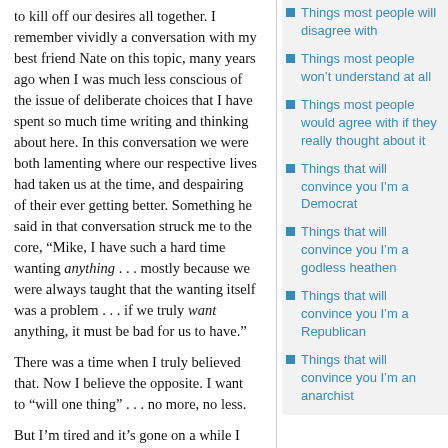to kill off our desires all together. I remember vividly a conversation with my best friend Nate on this topic, many years ago when I was much less conscious of the issue of deliberate choices that I have spent so much time writing and thinking about here. In this conversation we were both lamenting where our respective lives had taken us at the time, and despairing of their ever getting better. Something he said in that conversation struck me to the core, “Mike, I have such a hard time wanting anything . . . mostly because we were always taught that the wanting itself was a problem . . . if we truly want anything, it must be bad for us to have.”
There was a time when I truly believed that. Now I believe the opposite. I want to “will one thing” . . . no more, no less.
But I’m tired and it’s gone on a while I have to
Things most people will disagree with
Things most people won’t understand at all
Things most people would agree with if they really thought about it
Things that will convince you I’m a Democrat
Things that will convince you I’m a godless heathen
Things that will convince you I’m a Republican
Things that will convince you I’m an anarchist